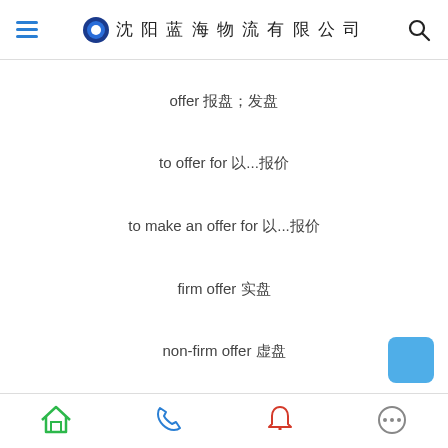沈阳蓝海物流有限公司
offer 报盘；发盘
to offer for 以…报价
to make an offer for 以…报价
firm offer 实盘
non-firm offer 虚盘
Home | Phone | Notify | More